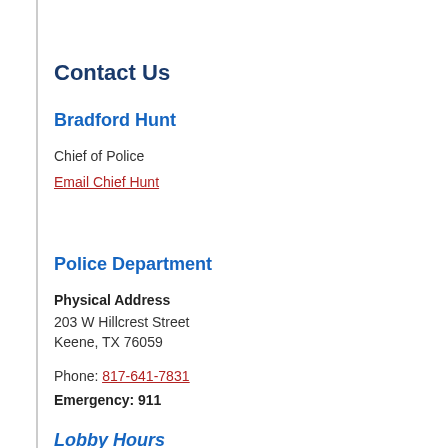Contact Us
Bradford Hunt
Chief of Police
Email Chief Hunt
Police Department
Physical Address
203 W Hillcrest Street
Keene, TX 76059
Phone: 817-641-7831
Emergency: 911
Lobby Hours